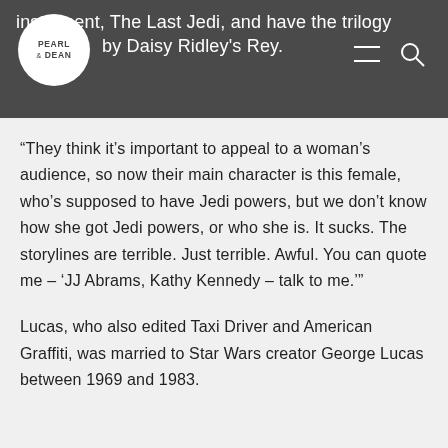instalment, The Last Jedi, and have the trilogy by Daisy Ridley's Rey.
“They think it’s important to appeal to a woman’s audience, so now their main character is this female, who’s supposed to have Jedi powers, but we don’t know how she got Jedi powers, or who she is. It sucks. The storylines are terrible. Just terrible. Awful. You can quote me – ‘JJ Abrams, Kathy Kennedy – talk to me.’”
Lucas, who also edited Taxi Driver and American Graffiti, was married to Star Wars creator George Lucas between 1969 and 1983.